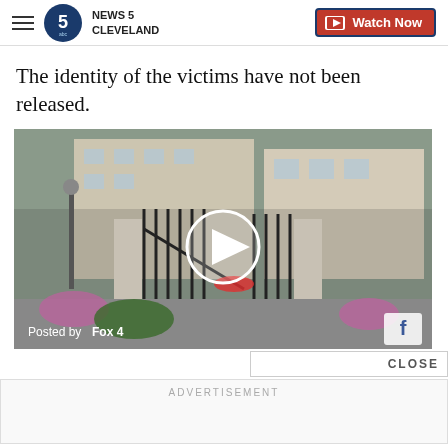NEWS 5 CLEVELAND | Watch Now
The identity of the victims have not been released.
[Figure (screenshot): Video thumbnail showing gated entrance to a luxury residential building. A play button is overlaid in the center. Caption reads 'Posted by Fox 4' with a Facebook icon in the bottom right corner.]
CLOSE
ADVERTISEMENT